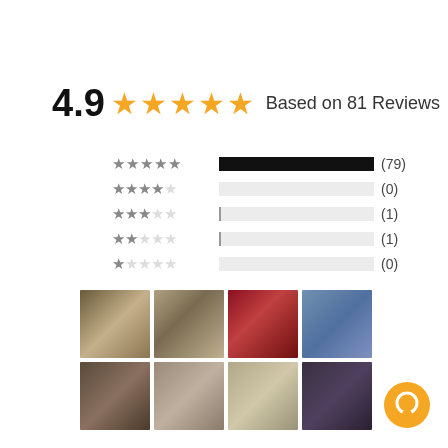4.9 ★★★★★ Based on 81 Reviews
[Figure (bar-chart): Rating breakdown]
[Figure (photo): Grid of 8 bathroom photos showing various decorative towels and bathroom setups]